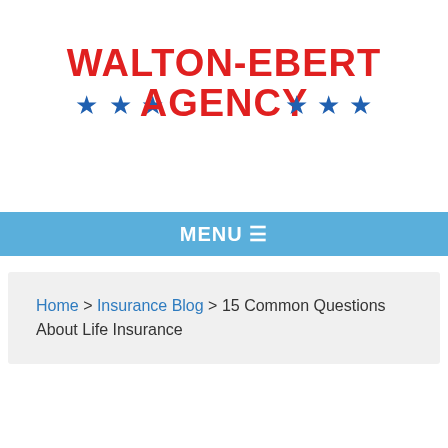[Figure (logo): Walton-Ebert Agency logo with red bold text 'WALTON-EBERT' on top and 'AGENCY' below, flanked by blue stars on both sides]
MENU ☰
Home > Insurance Blog > 15 Common Questions About Life Insurance